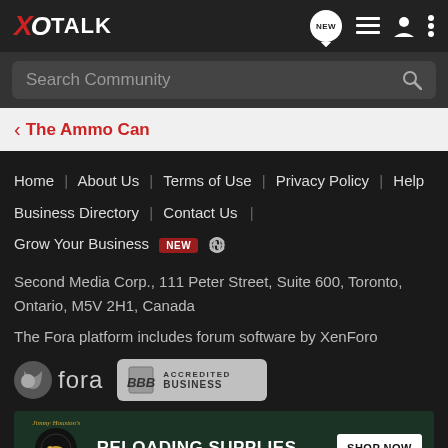XO TALK
Search Community
The Ammo Can
Home   About Us   Terms of Use   Privacy Policy   Help   Business Directory   Contact Us   |   Grow Your Business   NEW
Second Media Corp., 111 Peter Street, Suite 600, Toronto, Ontario, M5V 2H1, Canada
The Fora platform includes forum software by XenForo
[Figure (logo): Fora logo and BBB Accredited Business badge]
[Figure (illustration): Bass Pro Shops ad banner - RELOADING SUPPLIES - SHOP NOW]